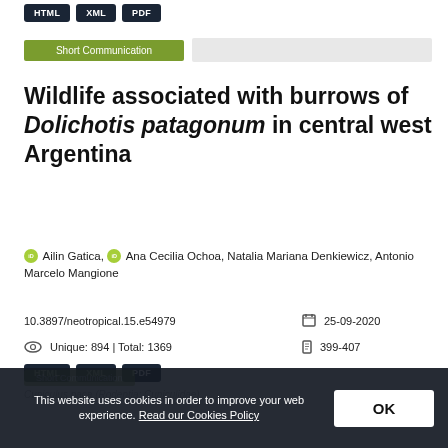[Figure (other): Three dark buttons labeled HTML, XML, PDF at the top of the page]
Short Communication
Wildlife associated with burrows of Dolichotis patagonum in central west Argentina
Ailin Gatica, Ana Cecilia Ochoa, Natalia Mariana Denkiewicz, Antonio Marcelo Mangione
10.3897/neotropical.15.e54979
25-09-2020
Unique: 894 | Total: 1369
399-407
[Figure (other): Three dark buttons labeled HTML, XML, PDF]
This website uses cookies in order to improve your web experience. Read our Cookies Policy
OK
Short Communication
Cuniculus paca (Rodentia: Cuniculidae)